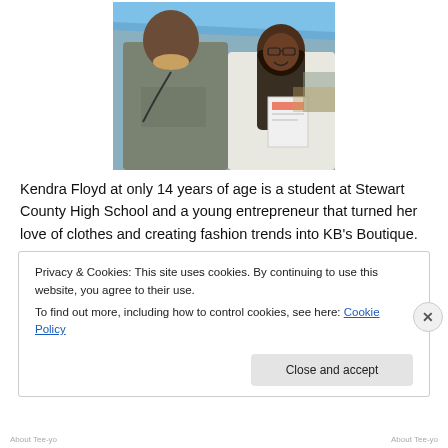[Figure (photo): Two people standing under a blue tarp/tent outdoors. One person wearing a grey t-shirt with text, another person in a white shirt holding a paper, smiling.]
Kendra Floyd at only 14 years of age is a student at Stewart County High School and a young entrepreneur that turned her love of clothes and creating fashion trends into KB's Boutique.
Privacy & Cookies: This site uses cookies. By continuing to use this website, you agree to their use.
To find out more, including how to control cookies, see here: Cookie Policy
Close and accept